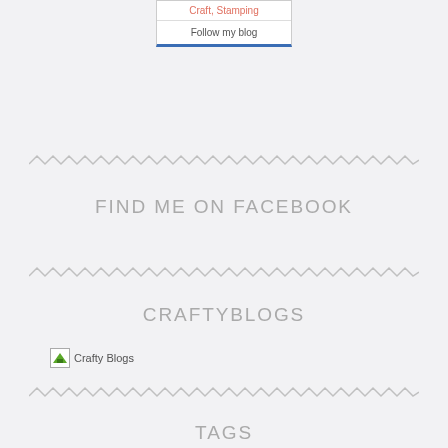[Figure (other): Blog widget box with links 'Craft, Stamping' and 'Follow my blog' button]
[Figure (other): Zigzag decorative divider line]
FIND ME ON FACEBOOK
[Figure (other): Zigzag decorative divider line]
CRAFTYBLOGS
[Figure (other): Crafty Blogs image/badge link]
[Figure (other): Zigzag decorative divider line]
TAGS